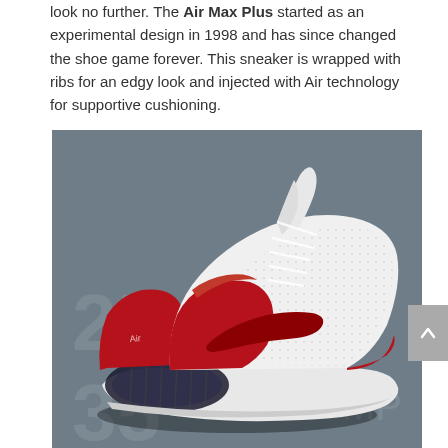look no further. The Air Max Plus started as an experimental design in 1998 and has since changed the shoe game forever. This sneaker is wrapped with ribs for an edgy look and injected with Air technology for supportive cushioning.
[Figure (photo): Nike Air Max 270 sneaker in white and red colorway with large Air cushioning unit, photographed on a grey textured background with faint number markings.]